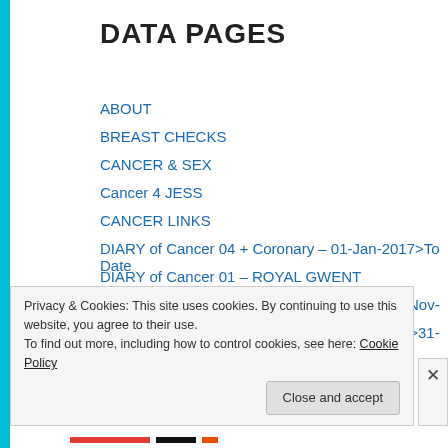DATA PAGES
ABOUT
BREAST CHECKS
CANCER & SEX
Cancer 4 JESS
CANCER LINKS
DIARY of Cancer 04 + Coronary – 01-Jan-2017>To Date
DIARY of Cancer 01 – ROYAL GWENT
DIARY of Cancer 02 + VELINDRE – 2011>18-Nov-2012
DIARY of Cancer 03 + Coronary 19-Nov-2012 >31-Dec-
Privacy & Cookies: This site uses cookies. By continuing to use this website, you agree to their use.
To find out more, including how to control cookies, see here: Cookie Policy
Close and accept